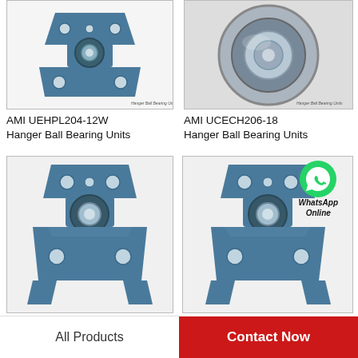[Figure (photo): AMI UEHPL204-12W hanger ball bearing unit, blue metal, triangular flange with holes]
AMI UEHPL204-12W Hanger Ball Bearing Units
[Figure (photo): AMI UCECH206-18 hanger ball bearing unit, close-up of bearing ring, steel]
AMI UCECH206-18 Hanger Ball Bearing Units
[Figure (photo): Hanger ball bearing unit, blue metal, triangular flange]
[Figure (photo): Hanger ball bearing unit, blue metal, with WhatsApp Online overlay]
All Products
Contact Now